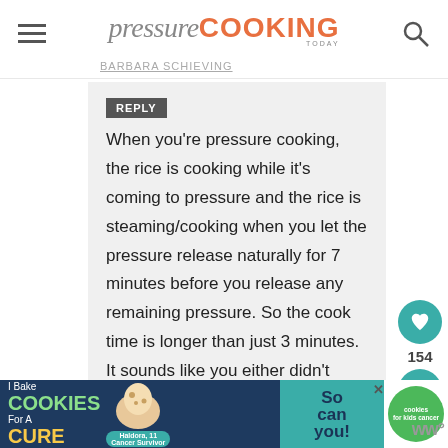pressure COOKING TODAY
BARBARA SCHIEVING
REPLY
When you're pressure cooking, the rice is cooking while it's coming to pressure and the rice is steaming/cooking when you let the pressure release naturally for 7 minutes before you release any remaining pressure. So the cook time is longer than just 3 minutes. It sounds like you either didn't have a good seal or released the pressure
[Figure (other): Heart/like button with count 154 and share button]
[Figure (other): Advertisement banner: I Bake COOKIES For A CURE - cookies for kids cancer]